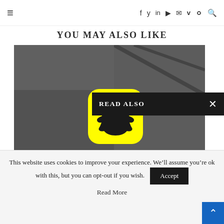≡ f y in ▶ ✉ v ⟩ 🔍
YOU MAY ALSO LIKE
[Figure (photo): Smartphone showing Snapchat app icon on a dark device surface with 'SS' text visible]
READ ALSO ×
This website uses cookies to improve your experience. We'll assume you're ok with this, but you can opt-out if you wish.
Accept
Read More